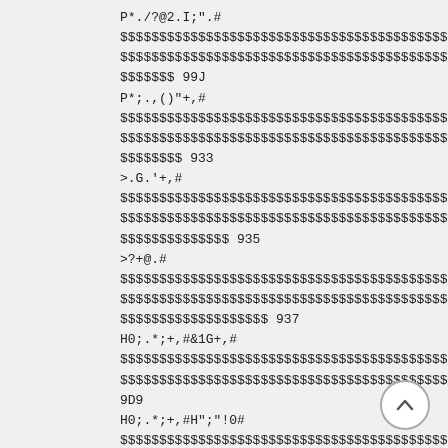P*./?@2.I;".#
$$$$$$$$$$$$$$$$$$$$$$$$$$$$$$$$$$$$$$$$$$$
$$$$$$$$$$$$$$$$$$$$$$$$$$$$$$$$$$$$$$$$$$$
$$$$$$$ 99J
P*;.,()"+,#
$$$$$$$$$$$$$$$$$$$$$$$$$$$$$$$$$$$$$$$$$$$
$$$$$$$$$$$$$$$$$$$$$$$$$$$$$$$$$$$$$$$$$$$
$$$$$$$$ 933
>.G.'+,#
$$$$$$$$$$$$$$$$$$$$$$$$$$$$$$$$$$$$$$$$$$$
$$$$$$$$$$$$$$$$$$$$$$$$$$$$$$$$$$$$$$$$$$$
$$$$$$$$$$$$$$ 935
>?+@.#
$$$$$$$$$$$$$$$$$$$$$$$$$$$$$$$$$$$$$$$$$$$
$$$$$$$$$$$$$$$$$$$$$$$$$$$$$$$$$$$$$$$$$$$
$$$$$$$$$$$$$$$$$$$ 937
H0;.*;+,#&1G+,#
$$$$$$$$$$$$$$$$$$$$$$$$$$$$$$$$$$$$$$$$$$$
$$$$$$$$$$$$$$$$$$$$$$$$$$$$$$$$$$$$$$$$$$$
9D9
H0;.*;+,#H";"!0#
$$$$$$$$$$$$$$$$$$$$$$$$$$$$$$$$$$$$$$$$$$$
$$$$$$$$$$$$$$$$$$$$$$$$$$$$$$$$$$$$$$$$$$$
$ 9D5